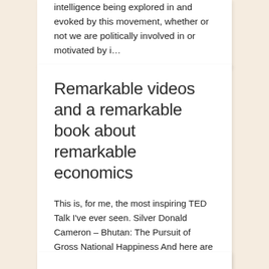intelligence being explored in and evoked by this movement, whether or not we are politically involved in or motivated by i…
Remarkable videos and a remarkable book about remarkable economics
This is, for me, the most inspiring TED Talk I've ever seen. Silver Donald Cameron – Bhutan: The Pursuit of Gross National Happiness And here are a film and a book that expand and deepen the view that economics can and should be about generating g…